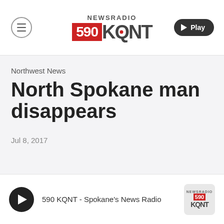[Figure (logo): NewsRadio 590 KQNT logo with menu icon and Play button in header bar]
Northwest News
North Spokane man disappears
Jul 8, 2017
590 KQNT - Spokane's News Radio